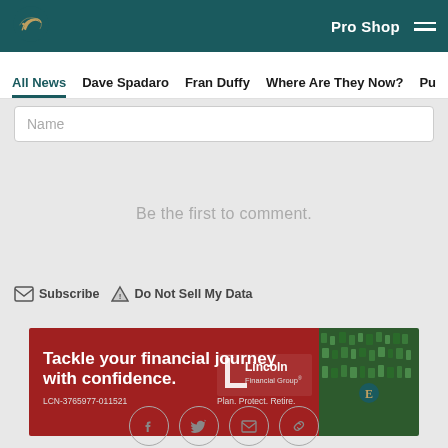Philadelphia Eagles - Pro Shop
All News | Dave Spadaro | Fran Duffy | Where Are They Now? | Pu
Name
Be the first to comment.
Subscribe  Do Not Sell My Data
[Figure (infographic): Lincoln Financial Group advertisement: 'Tackle your financial journey with confidence.' LCN-3765977-011521. Plan. Protect. Retire.]
Social share icons: Facebook, Twitter, Email, Link